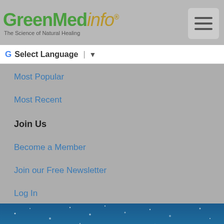[Figure (logo): GreenMedInfo logo with tagline 'The Science of Natural Healing' and hamburger menu button]
G Select Language ▼
Most Popular
Most Recent
Join Us
Become a Member
Join our Free Newsletter
Log In
[Figure (photo): Blue winter sky with snow/frost particles and clouds]
This website is for information purposes only. By providing the information contained herein we are not diagnosing, treating, curing, mitigating, or preventing